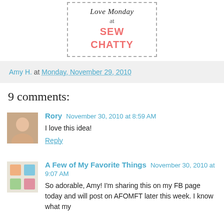[Figure (logo): Love Monday at SEW CHATTY logo with dashed border]
Amy H. at Monday, November 29, 2010
9 comments:
Rory November 30, 2010 at 8:59 AM
I love this idea!
Reply
A Few of My Favorite Things November 30, 2010 at 9:07 AM
So adorable, Amy! I'm sharing this on my FB page today and will post on AFOMFT later this week. I know what my